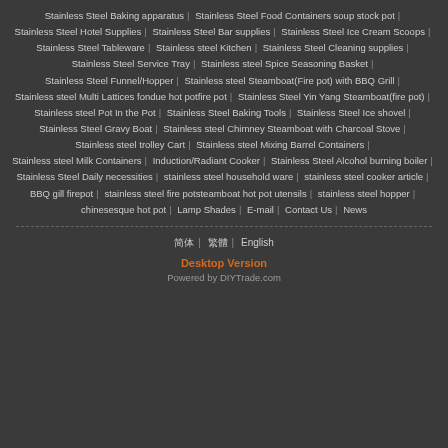Stainless Steel Baking apparatus | Stainless Steel Food Containers soup stock pot | Stainless Steel Hotel Supplies | Stainless Steel Bar supplies | Stainless Steel Ice Cream Scoops | Stainless Steel Tableware | Stainless steel Kitchen | Stainless Steel Cleaning supplies | Stainless Steel Service Tray | Stainless steel Spice Seasoning Basket | Stainless Steel Funnel/Hopper | Stainless steel Steamboat(Fire pot) with BBQ Grill | Stainless steel Multi Lattices fondue ​hot pot​fire pot | Stainless Steel Yin Yang Steamboat(fire pot) | Stainless steel Pot In the Pot | Stainless Steel Baking Tools | Stainless Steel Ice shovel | Stainless Steel Gravy Boat | Stainless steel Chimney Steamboat with Charcoal Stove | Stainless steel trolley Cart | Stainless steel Mixing Barrel Containers | Stainless steel Milk Containers | Induction/Radiant Cooker | Stainless Steel Alcohol burning boiler | Stainless Steel Daily necessities | stainless steel household ware | stainless steel cooker article | BBQ gill firepot | stainless steel fire pot​steamboat hot pot​ utensils | stainless steel hopper | chinesesque hot pot | Lamp Shades | E-mail | Contact Us | News
简体 | 繁體 | English
Desktop Version
Powered by DIYTrade.com